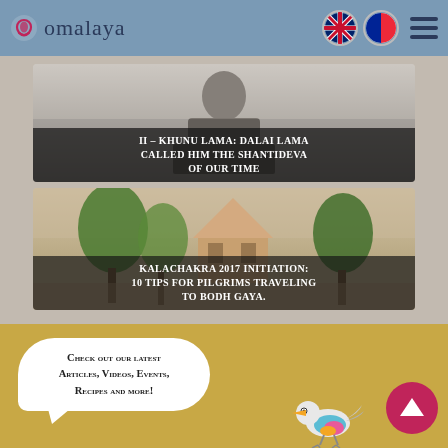omalaya
[Figure (photo): Black and white photo of Khunu Lama seated, with caption overlay: II – KHUNU LAMA: Dalai lama called him the Shantideva of our time]
II – KHUNU LAMA: Dalai lama called him the Shantideva of our time
[Figure (photo): Color photo of a temple complex with trees, with caption overlay: Kalachakra 2017 initiation: 10 tips for pilgrims traveling to Bodh Gaya.]
Kalachakra 2017 initiation: 10 tips for pilgrims traveling to Bodh Gaya.
Check out our latest Articles, Videos, Events, Recipes and more!